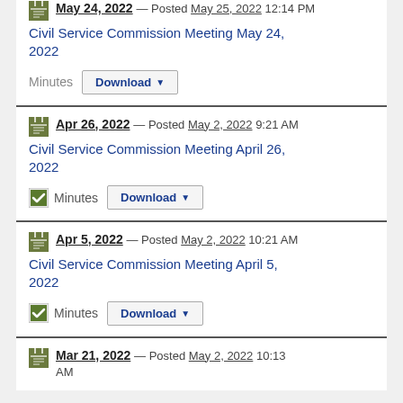May 24, 2022 — Posted May 25, 2022 12:14 PM
Civil Service Commission Meeting May 24, 2022
Minutes Download
Apr 26, 2022 — Posted May 2, 2022 9:21 AM
Civil Service Commission Meeting April 26, 2022
Minutes Download
Apr 5, 2022 — Posted May 2, 2022 10:21 AM
Civil Service Commission Meeting April 5, 2022
Minutes Download
Mar 21, 2022 — Posted May 2, 2022 10:13 AM